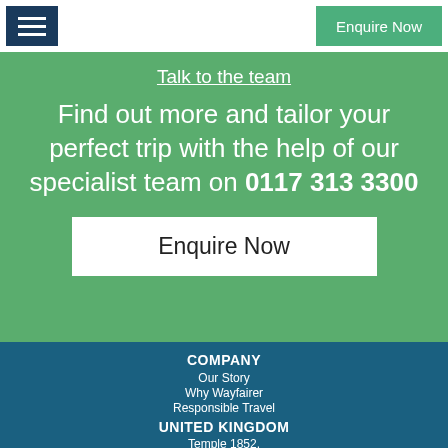Enquire Now
Talk to the team
Find out more and tailor your perfect trip with the help of our specialist team on 0117 313 3300
Enquire Now
COMPANY
Our Story
Why Wayfairer
Responsible Travel
UNITED KINGDOM
Temple 1852,
Lower Approach Road